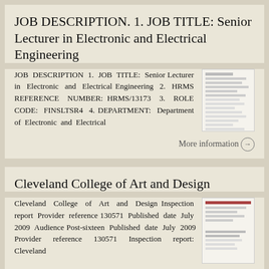JOB DESCRIPTION. 1. JOB TITLE: Senior Lecturer in Electronic and Electrical Engineering
JOB DESCRIPTION 1. JOB TITLE: Senior Lecturer in Electronic and Electrical Engineering 2. HRMS REFERENCE NUMBER: HRMS/13173 3. ROLE CODE: FINSLTSR4 4. DEPARTMENT: Department of Electronic and Electrical
More information →
Cleveland College of Art and Design
Cleveland College of Art and Design Inspection report Provider reference 130571 Published date July 2009 Audience Post-sixteen Published date July 2009 Provider reference 130571 Inspection report: Cleveland
More information →